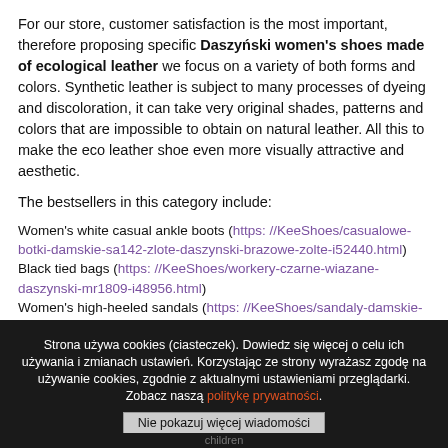For our store, customer satisfaction is the most important, therefore proposing specific Daszyński women's shoes made of ecological leather we focus on a variety of both forms and colors. Synthetic leather is subject to many processes of dyeing and discoloration, it can take very original shades, patterns and colors that are impossible to obtain on natural leather. All this to make the eco leather shoe even more visually attractive and aesthetic.
The bestsellers in this category include:
Women's white casual ankle boots (https: //KeeShoes/casualowe-botki-damskie-sa142-zlote-daszynski-brazowe-zolte-i52440.html)
Black tied bags (https: //KeeShoes/workery-czarne-wiazane-daszynski-mr1809-i48956.html)
Women's high-heeled sandals (https: //KeeShoes/sandaly-damskie-na-obcasie-122-4-daszynski-brazowe-i53454.html)
Strona używa cookies (ciasteczek). Dowiedz się więcej o celu ich używania i zmianach ustawień. Korzystając ze strony wyrażasz zgodę na używanie cookies, zgodnie z aktualnymi ustawieniami przeglądarki. Zobacz naszą politykę prywatności.
Nie pokazuj więcej wiadomości